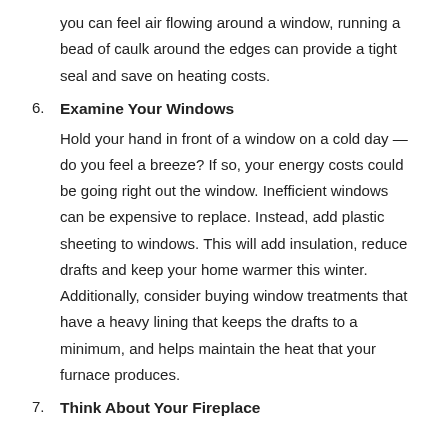you can feel air flowing around a window, running a bead of caulk around the edges can provide a tight seal and save on heating costs.
6. Examine Your Windows
Hold your hand in front of a window on a cold day — do you feel a breeze? If so, your energy costs could be going right out the window. Inefficient windows can be expensive to replace. Instead, add plastic sheeting to windows. This will add insulation, reduce drafts and keep your home warmer this winter. Additionally, consider buying window treatments that have a heavy lining that keeps the drafts to a minimum, and helps maintain the heat that your furnace produces.
7. Think About Your Fireplace